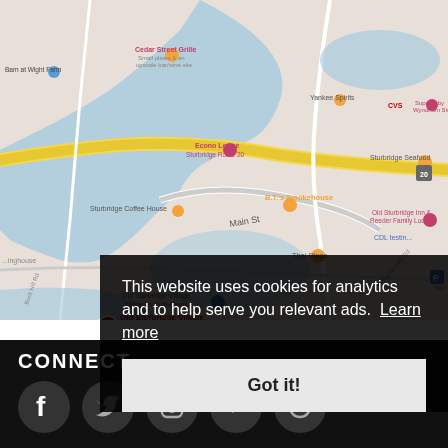[Figure (map): Google Maps view showing Old Sturbridge Village area with nearby landmarks including Cedar Street Grille, B.T.'s Smokehouse, Sturbridge Seafood, Econo Lodge, Thai Place, Yankee Spirits, CVS, Old Sturbridge Inn & Reeder Family Lodges, Sturbridge Host Hotel & Conference Center, and a red pin marker for Old Sturbridge Village labeled 'Re-creation of an 1800s community'.]
This website uses cookies for analytics and to help serve you relevant ads. Learn more
Got it!
CONNECT